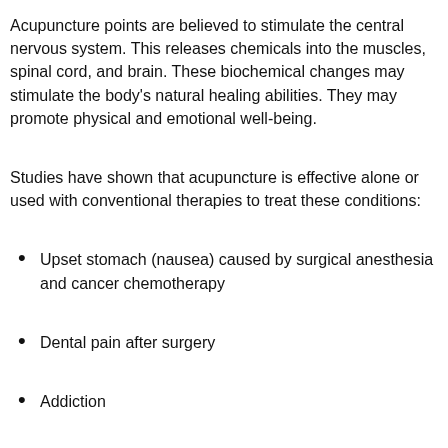Acupuncture points are believed to stimulate the central nervous system. This releases chemicals into the muscles, spinal cord, and brain. These biochemical changes may stimulate the body's natural healing abilities. They may promote physical and emotional well-being.
Studies have shown that acupuncture is effective alone or used with conventional therapies to treat these conditions:
Upset stomach (nausea) caused by surgical anesthesia and cancer chemotherapy
Dental pain after surgery
Addiction
Headaches
Menstrual cramps